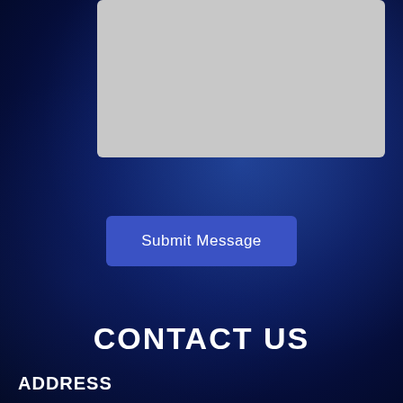[Figure (screenshot): Gray text area input box, partially visible at top of page]
Submit Message
CONTACT US
ADDRESS